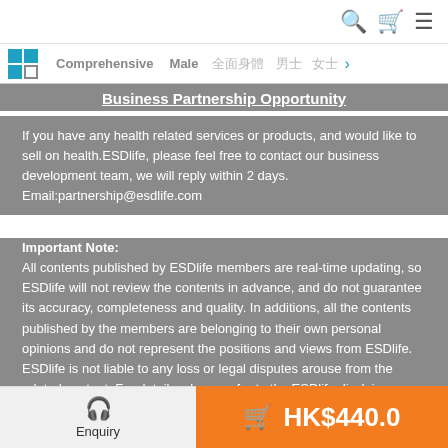Search | Cart | Menu
Comprehensive | Male | 全面身體 | 男士 | 女士 >
Business Partnership Opportunity
If you have any health related services or products, and would like to sell on health.ESDlife, please feel free to contact our business development team, we will reply within 2 days.
Email:partnership@esdlife.com
Important Note:
All contents published by ESDlife members are real-time updating, so ESDlife will not review the contents in advance, and do not guarantee its accuracy, completeness and quality. In additions, all the contents published by the members are belonging to their own personal opinions and do not represent the positions and views from ESDlife. ESDlife is not liable to any loss or legal disputes arouse from the related content. For details, please refer to the ESDlife disclaimer.
Enquiry | HK$440.0